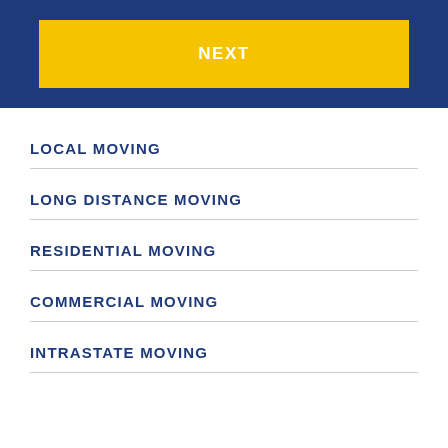[Figure (screenshot): Blue header bar with a yellow NEXT button centered inside it]
LOCAL MOVING
LONG DISTANCE MOVING
RESIDENTIAL MOVING
COMMERCIAL MOVING
INTRASTATE MOVING